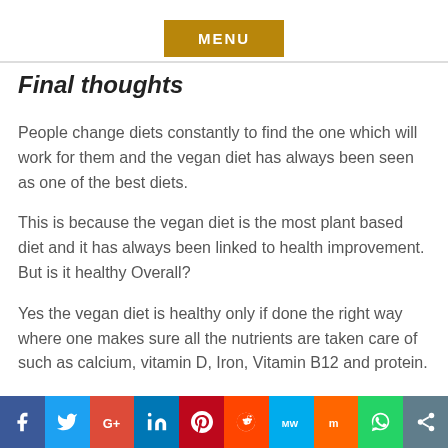[Figure (other): MENU button in golden/brown color]
Final thoughts
People change diets constantly to find the one which will work for them and the vegan diet has always been seen as one of the best diets.
This is because the vegan diet is the most plant based diet and it has always been linked to health improvement. But is it healthy Overall?
Yes the vegan diet is healthy only if done the right way where one makes sure all the nutrients are taken care of such as calcium, vitamin D, Iron, Vitamin B12 and protein.
[Figure (other): Social media share bar with Facebook, Twitter, Google+, LinkedIn, Pinterest, Reddit, MW, Mix, WhatsApp, Share buttons]